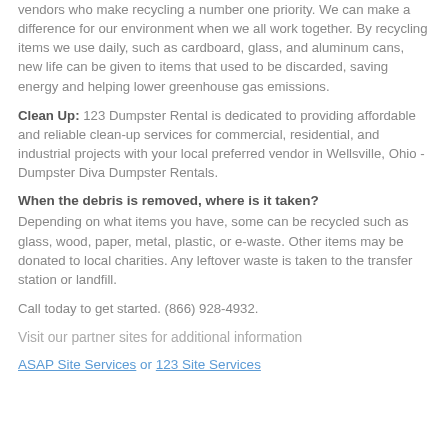vendors who make recycling a number one priority. We can make a difference for our environment when we all work together. By recycling items we use daily, such as cardboard, glass, and aluminum cans, new life can be given to items that used to be discarded, saving energy and helping lower greenhouse gas emissions.
Clean Up: 123 Dumpster Rental is dedicated to providing affordable and reliable clean-up services for commercial, residential, and industrial projects with your local preferred vendor in Wellsville, Ohio - Dumpster Diva Dumpster Rentals.
When the debris is removed, where is it taken?
Depending on what items you have, some can be recycled such as glass, wood, paper, metal, plastic, or e-waste. Other items may be donated to local charities. Any leftover waste is taken to the transfer station or landfill.
Call today to get started. (866) 928-4932.
Visit our partner sites for additional information
ASAP Site Services or 123 Site Services